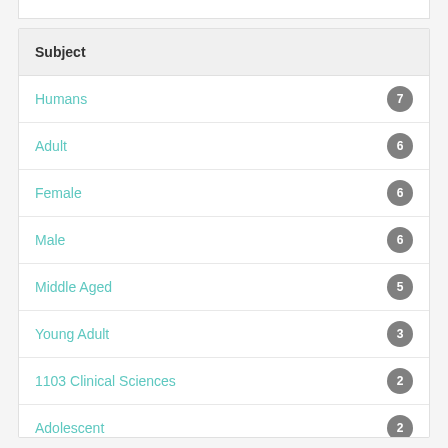Subject
Humans
Adult
Female
Male
Middle Aged
Young Adult
1103 Clinical Sciences
Adolescent
Aged